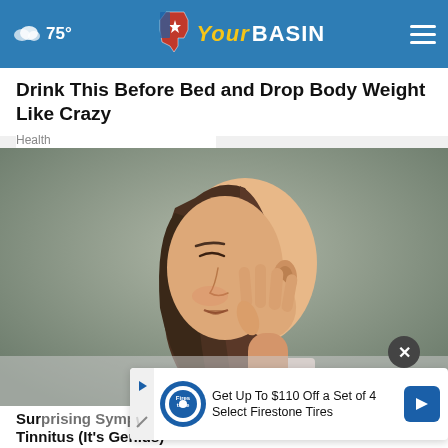75° YourBasin
Drink This Before Bed and Drop Body Weight Like Crazy
Health
[Figure (photo): Woman holding her ear/jaw area in pain, side profile view, long brown hair, gray background]
Surprising Symptoms of
Tinnitus (It's Genius)
Get Up To $110 Off a Set of 4 Select Firestone Tires